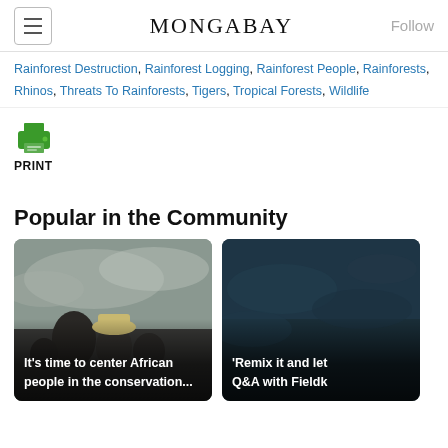MONGABAY
Rainforest Destruction, Rainforest Logging, Rainforest People, Rainforests, Rhinos, Threats To Rainforests, Tigers, Tropical Forests, Wildlife
[Figure (illustration): Green printer icon with PRINT label below]
Popular in the Community
[Figure (photo): Photo card: group of African people outdoors with cloudy sky. Caption: It's time to center African people in the conservation...]
[Figure (photo): Photo card: dark underwater or nature scene. Caption: 'Remix it and let... Q&A with Fieldk...]